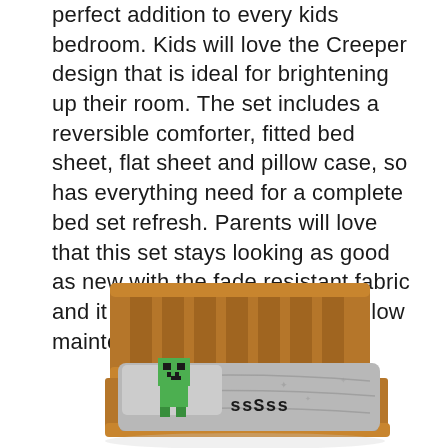perfect addition to every kids bedroom. Kids will love the Creeper design that is ideal for brightening up their room. The set includes a reversible comforter, fitted bed sheet, flat sheet and pillow case, so has everything need for a complete bed set refresh. Parents will love that this set stays looking as good as new with the fade resistant fabric and it is easy to clean making it low maintenance for busy families.
[Figure (photo): Photo of a kids bed with a Minecraft Creeper themed bedding set, featuring a grey comforter with the Creeper character and 'ssSss' text visible on the pillow/comforter area. The bed has a wooden headboard and footboard.]